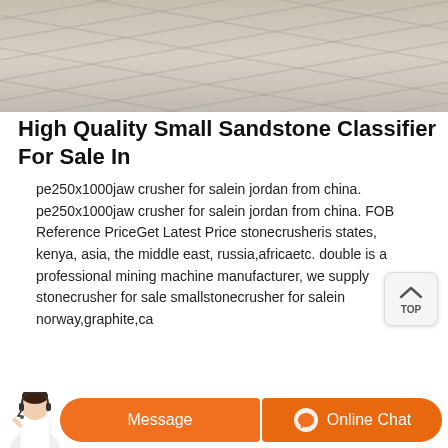[Figure (photo): Close-up photo of a light-colored sandy/stone surface texture, beige and grey tones]
High Quality Small Sandstone Classifier For Sale In
pe250x1000jaw crusher for salein jordan from china. pe250x1000jaw crusher for salein jordan from china. FOB Reference PriceGet Latest Price stonecrusheris states, kenya, asia, the middle east, russia,africaetc. double is a professional mining machine manufacturer, we supply stonecrusher for sale smallstonecrusher for salein norway,graphite,ca
[Figure (photo): Industrial machinery photo showing large metal flywheels or pulley wheels of a stone crusher machine, with wooden/metal support structure, in an outdoor industrial setting]